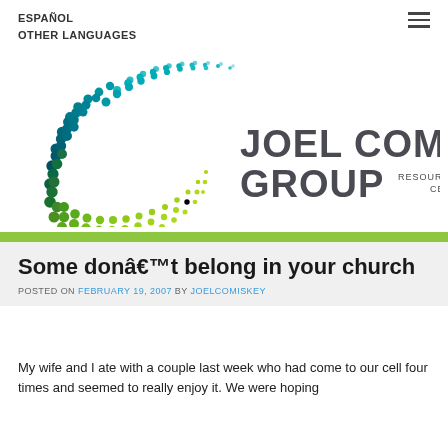ESPAÑOL
OTHER LANGUAGES
[Figure (logo): Joel Comiskey Group logo — a spiral of teal and green dots forming a C shape, with text JOEL COMISKEY GROUP and tagline RESOURCING THE WORLDWIDE CELL CHURCH]
Some donâ€™t belong in your church
POSTED ON FEBRUARY 19, 2007 BY JOELCOMISKEY
My wife and I ate with a couple last week who had come to our cell four times and seemed to really enjoy it. We were hoping